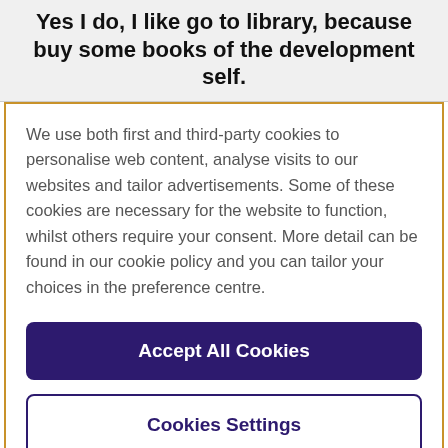Yes I do, I like go to library, because buy some books of the development self.
We use both first and third-party cookies to personalise web content, analyse visits to our websites and tailor advertisements. Some of these cookies are necessary for the website to function, whilst others require your consent. More detail can be found in our cookie policy and you can tailor your choices in the preference centre.
Accept All Cookies
Cookies Settings